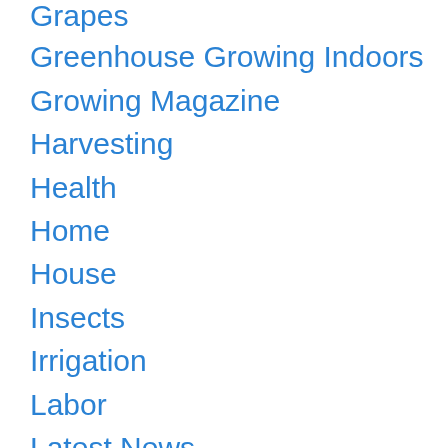Grapes
Greenhouse Growing Indoors
Growing Magazine
Harvesting
Health
Home
House
Insects
Irrigation
Labor
Latest News
Lawn & Garden
Lettuce
New Equipment